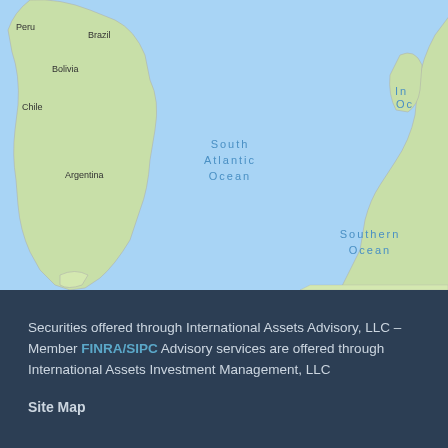[Figure (map): World map (Google Maps style) showing South America (Peru, Brazil, Bolivia, Chile, Argentina) on the left and Africa (DRC, Tanzania, Angola, Namibia, Botswana, Madagascar, South Africa) on the right, with South Atlantic Ocean in the center, Southern Ocean at the bottom, and partial Indian Ocean label on far right. Background is light blue for ocean, green/beige for land.]
Securities offered through International Assets Advisory, LLC – Member FINRA/SIPC Advisory services are offered through International Assets Investment Management, LLC
Site Map